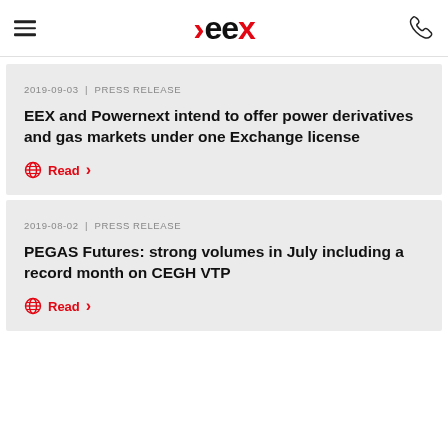EEX
2019-09-03 | PRESS RELEASE
EEX and Powernext intend to offer power derivatives and gas markets under one Exchange license
Read
2019-08-02 | PRESS RELEASE
PEGAS Futures: strong volumes in July including a record month on CEGH VTP
Read